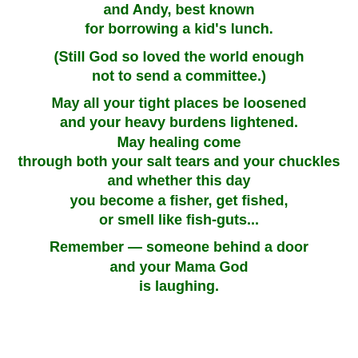and Andy, best known
for borrowing a kid's lunch.

(Still God so loved the world enough
not to send a committee.)

May all your tight places be loosened
and your heavy burdens lightened.
May healing come
through both your salt tears and your chuckles
and whether this day
you become a fisher, get fished,
or smell like fish-guts...

Remember — someone behind a door
and your Mama God
is laughing.